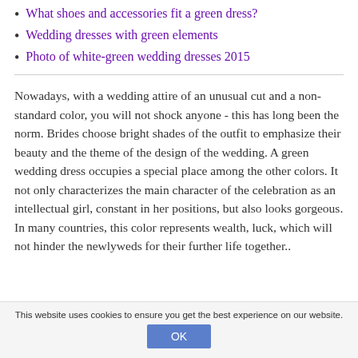What shoes and accessories fit a green dress?
Wedding dresses with green elements
Photo of white-green wedding dresses 2015
Nowadays, with a wedding attire of an unusual cut and a non-standard color, you will not shock anyone - this has long been the norm. Brides choose bright shades of the outfit to emphasize their beauty and the theme of the design of the wedding. A green wedding dress occupies a special place among the other colors. It not only characterizes the main character of the celebration as an intellectual girl, constant in her positions, but also looks gorgeous. In many countries, this color represents wealth, luck, which will not hinder the newlyweds for their further life together..
This website uses cookies to ensure you get the best experience on our website.